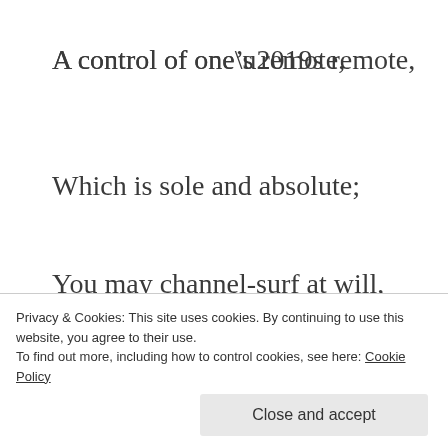A control of one’s remote,
Which is sole and absolute;
You may wish to switch to mute,
You may channel-surf at will,
You may gorge on sport and chill
Or delight in something creepy;
Privacy & Cookies: This site uses cookies. By continuing to use this website, you agree to their use.
To find out more, including how to control cookies, see here: Cookie Policy